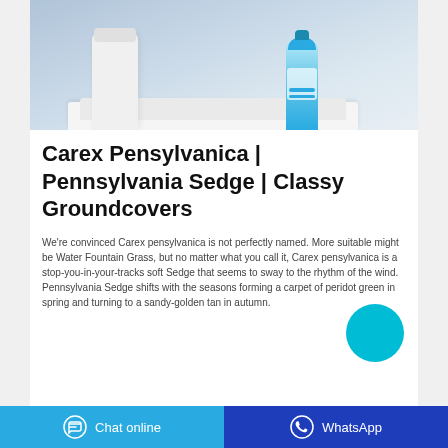[Figure (photo): Product photo showing a blue liquid detergent bottle and a white container on folded white towels against a blue-grey background]
Carex Pensylvanica | Pennsylvania Sedge | Classy Groundcovers
We're convinced Carex pensylvanica is not perfectly named. More suitable might be Water Fountain Grass, but no matter what you call it, Carex pensylvanica is a stop-you-in-your-tracks soft Sedge that seems to sway to the rhythm of the wind. Pennsylvania Sedge shifts with the seasons forming a carpet of peridot green in spring and turning to a sandy-golden tan in autumn.
Chat online   WhatsApp